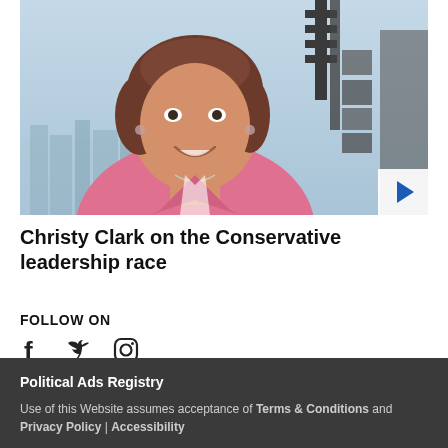[Figure (photo): A smiling woman with short brown hair, wearing a pink blazer and a delicate necklace, photographed in front of a city skyline backdrop with dark equipment visible in the background. A white play button overlay is in the bottom-right corner.]
Christy Clark on the Conservative leadership race
FOLLOW ON
[Figure (other): Social media icons: Facebook (f), Twitter (bird), Instagram (camera)]
Political Ads Registry
Use of this Website assumes acceptance of Terms & Conditions and Privacy Policy | Accessibility